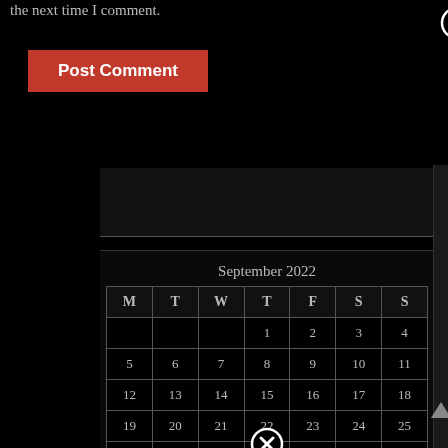the next time I comment.
Post Comment
[Figure (other): Calendar widget for September 2022 on dark background, showing days M T W T F S S with dates 1-30]
| M | T | W | T | F | S | S |
| --- | --- | --- | --- | --- | --- | --- |
|  |  |  | 1 | 2 | 3 | 4 |
| 5 | 6 | 7 | 8 | 9 | 10 | 11 |
| 12 | 13 | 14 | 15 | 16 | 17 | 18 |
| 19 | 20 | 21 | 22 | 23 | 24 | 25 |
| 26 | 27 | 28 | 29 | 30 |  |  |